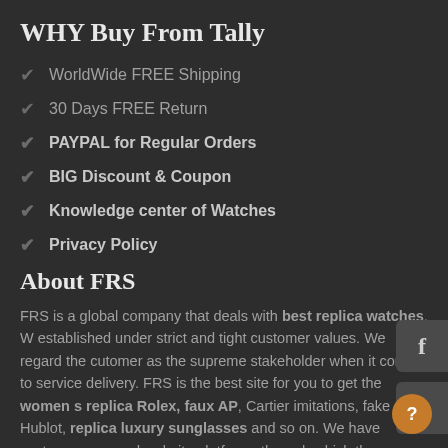WHY Buy From Tally
WorldWide FREE Shipping
30 Days FREE Return
PAYPAL for Regular Orders
BIG Discount & Coupon
Knowledge center of Watches
Privacy Policy
About FRS
FRS is a global company that deals with best replica watches. W established under strict and tight customer values. We regard the cutomer as the supreme stakeholder when it comes to service delivery. FRS is the best site for you to get the women s replica Rolex, faux AP, Cartier imitations, fake Hublot, replica luxury sunglasses and so on. We have customer care and website platforms through which the complaints are addressed efficiently and effectively. Free shipping, Paypal Credit Card Pay and Free Return, Tally is your be choice.